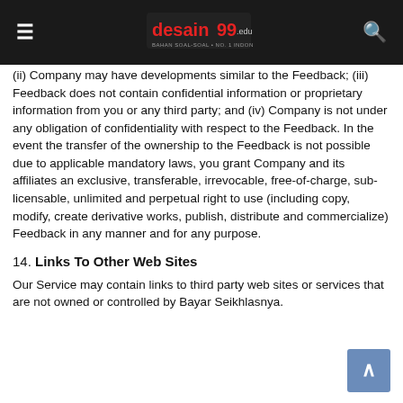desain99.com header with menu and search icons
(ii) Company may have developments similar to the Feedback; (iii) Feedback does not contain confidential information or proprietary information from you or any third party; and (iv) Company is not under any obligation of confidentiality with respect to the Feedback. In the event the transfer of the ownership to the Feedback is not possible due to applicable mandatory laws, you grant Company and its affiliates an exclusive, transferable, irrevocable, free-of-charge, sub-licensable, unlimited and perpetual right to use (including copy, modify, create derivative works, publish, distribute and commercialize) Feedback in any manner and for any purpose.
14. Links To Other Web Sites
Our Service may contain links to third party web sites or services that are not owned or controlled by Bayar Seikhlasnya.